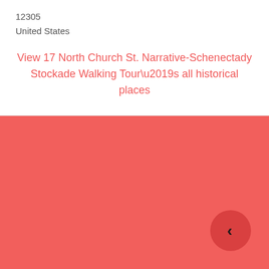12305
United States
View 17 North Church St. Narrative-Schenectady Stockade Walking Tour’s all historical places